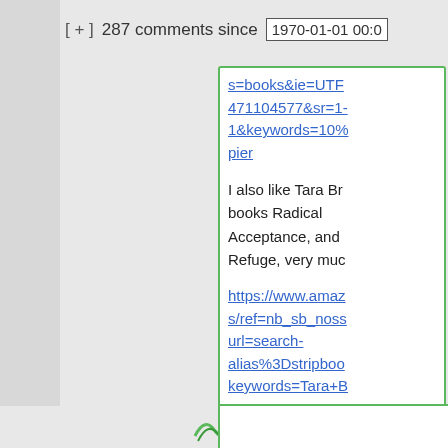[ + ]  287 comments since  1970-01-01 00:0
s=books&ie=UTF
471104577&sr=1-
1&keywords=10%
pier
I also like Tara Br books Radical Acceptance, and Refuge, very muc
https://www.amaz s/ref=nb_sb_noss url=search-alias%3Dstripboo keywords=Tara+B
Hide 1